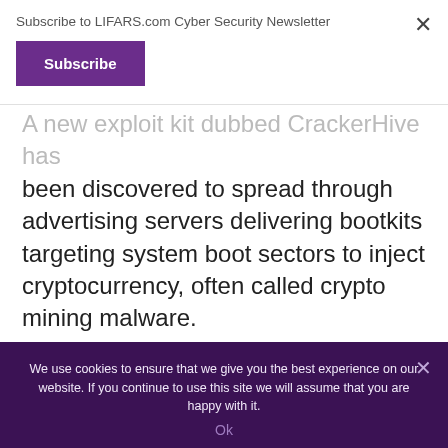Subscribe to LIFARS.com Cyber Security Newsletter
Subscribe
A new exploit kit dubbed CrackerHive has been discovered to spread through advertising servers delivering bootkits targeting system boot sectors to inject cryptocurrency, often called crypto mining malware.
Malware researchers have spotted a new exploit kit that ultimately infects the boot
We use cookies to ensure that we give you the best experience on our website. If you continue to use this site we will assume that you are happy with it.
Ok